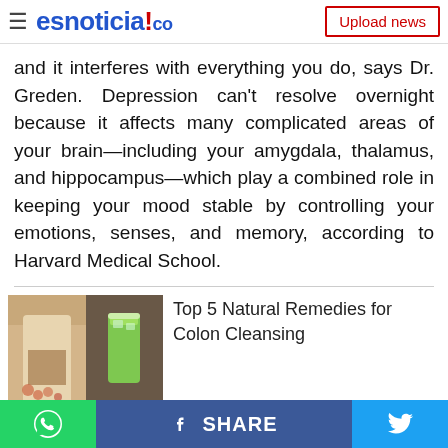esnoticia!co — Upload news
and it interferes with everything you do, says Dr. Greden. Depression can't resolve overnight because it affects many complicated areas of your brain—including your amygdala, thalamus, and hippocampus—which play a combined role in keeping your mood stable by controlling your emotions, senses, and memory, according to Harvard Medical School.
[Figure (photo): Thumbnail image showing a person holding their stomach and a glass of green smoothie]
Top 5 Natural Remedies for Colon Cleansing
[Figure (photo): Thumbnail image showing ab crack / thigh gap related fitness content]
'Ab Crack' is the new thigh gap and it's just as dangerous
WhatsApp | f SHARE | Twitter